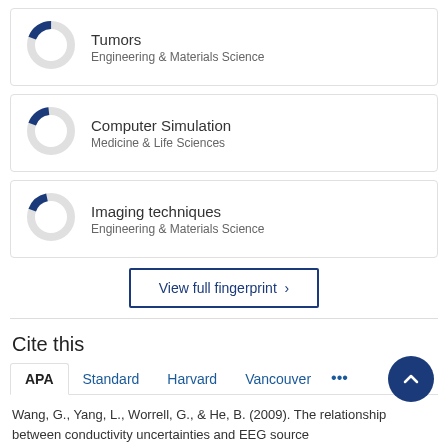[Figure (donut-chart): Donut chart showing ~20% fill for Tumors topic in Engineering & Materials Science]
Tumors
Engineering & Materials Science
[Figure (donut-chart): Donut chart showing ~20% fill for Computer Simulation topic in Medicine & Life Sciences]
Computer Simulation
Medicine & Life Sciences
[Figure (donut-chart): Donut chart showing ~20% fill for Imaging techniques topic in Engineering & Materials Science]
Imaging techniques
Engineering & Materials Science
View full fingerprint ›
Cite this
APA   Standard   Harvard   Vancouver   •••
Wang, G., Yang, L., Worrell, G., & He, B. (2009). The relationship between conductivity uncertainties and EEG source